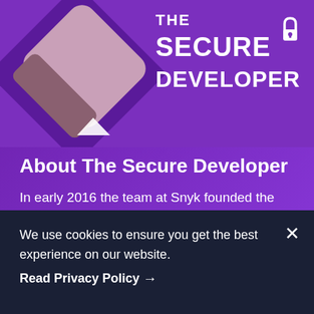[Figure (screenshot): Website screenshot showing The Secure Developer podcast page. Top portion has a purple background with a diamond-shaped photo of a man with a beard and the podcast logo 'THE SECURE DEVELOPER' in bold white text with a padlock icon.]
About The Secure Developer
In early 2016 the team at Snyk founded the Secure Developer Podcast to arm developers and AppSec teams with better ways to upgrade their security posture. Four years on, and the podcast continues to share a wealth of information. Our
We use cookies to ensure you get the best experience on our website.
Read Privacy Policy →